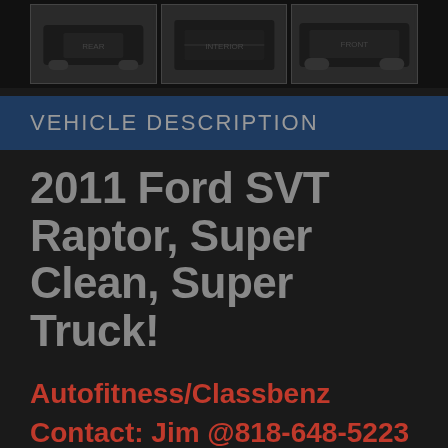[Figure (photo): Three thumbnail photos of a vehicle (Ford SVT Raptor) showing rear/exterior views on dark background]
VEHICLE DESCRIPTION
2011 Ford SVT Raptor, Super Clean, Super Truck!
Autofitness/Classbenz Contact: Jim @818-648-5223
Fully loaded, Navigation, Luxury Package, Heated Seats, Moon Roo...